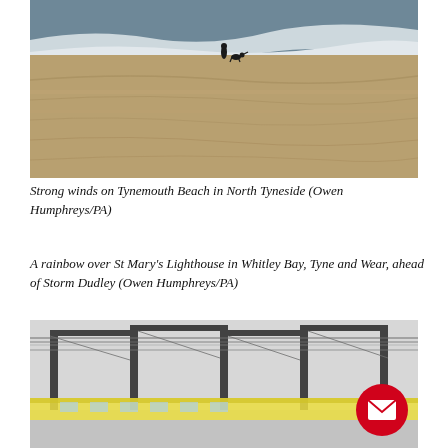[Figure (photo): A person walking a dog on Tynemouth Beach with strong winds, large sandy beach with crashing waves in the background]
Strong winds on Tynemouth Beach in North Tyneside (Owen Humphreys/PA)
A rainbow over St Mary's Lighthouse in Whitley Bay, Tyne and Wear, ahead of Storm Dudley (Owen Humphreys/PA)
[Figure (photo): A train station with overhead electric gantries in stormy/misty conditions, with a yellow train visible below]